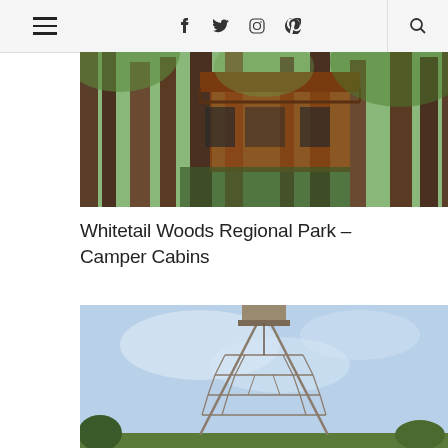Navigation bar with hamburger menu, social icons (Facebook, Twitter, Instagram, Pinterest), and search icon
[Figure (photo): Exterior photo of a wooden cabin elevated on stilts among tall forest trees, with multi-story structure and balcony, surrounded by dense green woods]
Whitetail Woods Regional Park – Camper Cabins
[Figure (photo): Tall metal fire lookout tower structure rising against a blue sky with light clouds, surrounded by trees at the base]